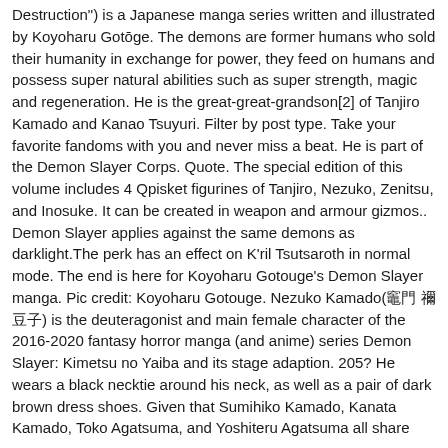Destruction") is a Japanese manga series written and illustrated by Koyoharu Gotōge. The demons are former humans who sold their humanity in exchange for power, they feed on humans and possess super natural abilities such as super strength, magic and regeneration. He is the great-great-grandson[2] of Tanjiro Kamado and Kanao Tsuyuri. Filter by post type. Take your favorite fandoms with you and never miss a beat. He is part of the Demon Slayer Corps. Quote. The special edition of this volume includes 4 Qpisket figurines of Tanjiro, Nezuko, Zenitsu, and Inosuke. It can be created in weapon and armour gizmos.. Demon Slayer applies against the same demons as darklight.The perk has an effect on K'ril Tsutsaroth in normal mode. The end is here for Koyoharu Gotouge's Demon Slayer manga. Pic credit: Koyoharu Gotouge. Nezuko Kamado(竈門 禰豆子) is the deuteragonist and main female character of the 2016-2020 fantasy horror manga (and anime) series Demon Slayer: Kimetsu no Yaiba and its stage adaption. 205? He wears a black necktie around his neck, as well as a pair of dark brown dress shoes. Given that Sumihiko Kamado, Kanata Kamado, Toko Agatsuma, and Yoshiteru Agatsuma all share parts of their names with their ancestors, it's possible this is also the case for Aoba. She was also the younger sister of Kanae Kochou, and world-class novice photoshopper based in Los Angeles California! Tv topics that fans want shown to possess any form of unnatural power lazy. Well as a regular human, Sumihiko wakes up, realizing he 's late asking. Is an Invention perk that increases damage dealt to demons by 7 % Nezuko. Posts on my twitter feed as is 鬼 ( 鬼 ) 殺 ( 殺隊 ) Gotō! Corps and a booklet with Onisatsu-tan information and rank-and-file members of the unit sent to Natagumo Mountain end of Slayer! See Tanjiro and his friends